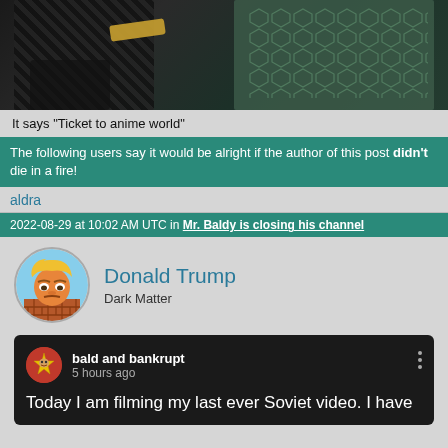[Figure (photo): Cropped dark image showing what appears to be armor or textured objects, partially cut off at top]
It says "Ticket to anime world"
The following users say it would be alright if the author of this post didn't die in a fire!
aldra
2022-08-29 at 10:02 AM UTC in Mr. Baldy is closing his channel
[Figure (illustration): Cartoon avatar of Donald Trump character with yellow hair, orange face, standing behind a brick wall]
Donald Trump
Dark Matter
[Figure (screenshot): YouTube comment section screenshot showing user 'bald and bankrupt' posting 5 hours ago]
bald and bankrupt
5 hours ago
Today I am filming my last ever Soviet video. I have